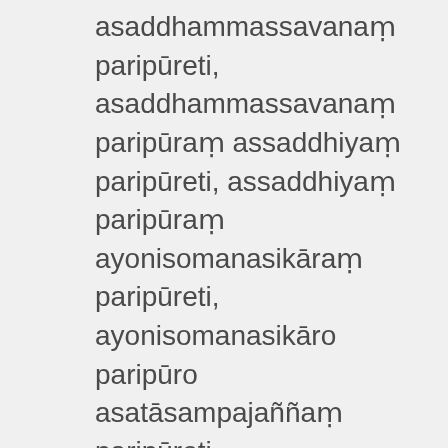asaddhammassavanaṃ paripūreti, asaddhammassavanaṃ paripūraṃ assaddhiyaṃ paripūreti, assaddhiyaṃ paripūraṃ ayonisomanasikāraṃ paripūreti, ayonisomanasikāro paripūro asatāsampajaññaṃ paripūreti, asatāsampajaññaṃ paripūraṃ indriyaasaṃvaraṃ paripūreti, indriyaasaṃvaro paripūro tīṇi duccaritāni paripūreti, tīṇi duccaritāni paripūrāni pañca nīvaraṇe